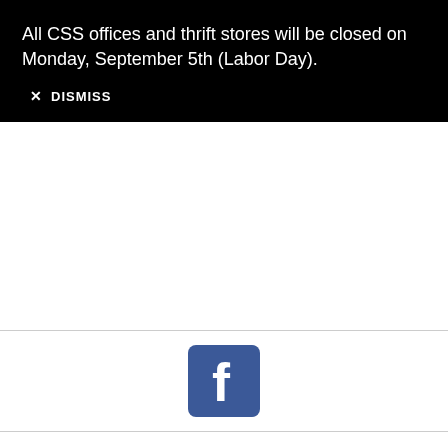All CSS offices and thrift stores will be closed on Monday, September 5th (Labor Day).
✕ DISMISS
[Figure (logo): Facebook logo - blue rounded square with white 'f' letter]
[Figure (logo): Instagram logo - colorful gradient rounded square with camera outline icon]
[Figure (logo): LinkedIn logo - blue rounded square with white 'in' text]
[Figure (logo): Twitter/social logo - partially visible blue rounded shape at bottom]